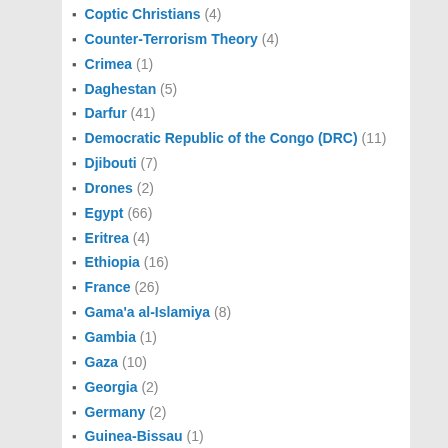Coptic Christians (4)
Counter-Terrorism Theory (4)
Crimea (1)
Daghestan (5)
Darfur (41)
Democratic Republic of the Congo (DRC) (11)
Djibouti (7)
Drones (2)
Egypt (66)
Eritrea (4)
Ethiopia (16)
France (26)
Gama'a al-Islamiya (8)
Gambia (1)
Gaza (10)
Georgia (2)
Germany (2)
Guinea-Bissau (1)
Hamas (3)
Hezbollah (14)
Hizb ut-Tahrir (1)
India (7)